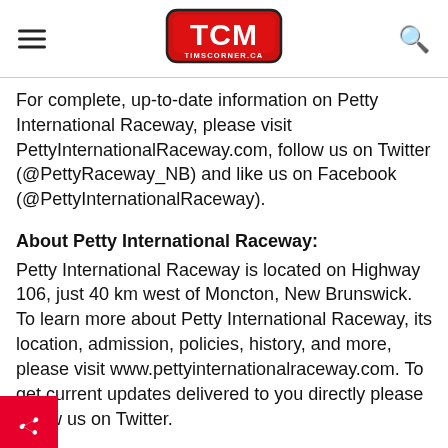TCM TIMSCORNER.CA
For complete, up-to-date information on Petty International Raceway, please visit PettyInternationalRaceway.com, follow us on Twitter (@PettyRaceway_NB) and like us on Facebook (@PettyInternationalRaceway).
About Petty International Raceway:
Petty International Raceway is located on Highway 106, just 40 km west of Moncton, New Brunswick. To learn more about Petty International Raceway, its location, admission, policies, history, and more, please visit www.pettyinternationalraceway.com. To get current updates delivered to you directly please follow us on Twitter.